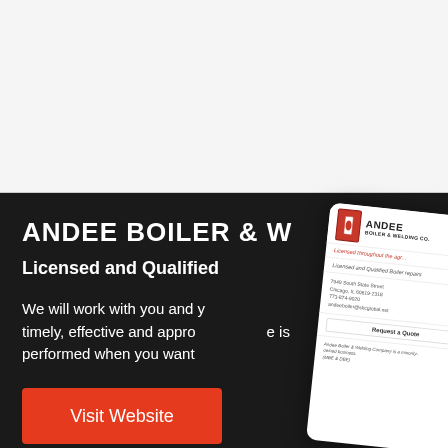[Figure (screenshot): White background top section of a webpage]
ANDEE BOILER & W...
Licensed and Qualified...
We will work with you and y... timely, effective and appro... is performed when you want...
[Figure (screenshot): Phone mockup showing Andee Boiler & Welding Co. website with logo, address, phone, email, request a quote button, and minority-owned business note]
Visit Website